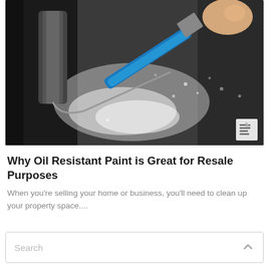[Figure (photo): Photo of a paint roller and paint brush with blue handle held by a gloved hand, applying black paint on a surface with white splatter/spray, with a document icon overlay in bottom-right corner]
Why Oil Resistant Paint is Great for Resale Purposes
When you're selling your home or business, you'll need to clean up your property space....
Search